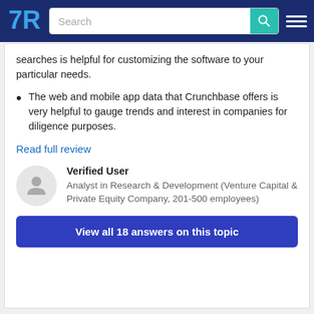TrustRadius - Search
searches is helpful for customizing the software to your particular needs.
The web and mobile app data that Crunchbase offers is very helpful to gauge trends and interest in companies for diligence purposes.
Read full review
Verified User
Analyst in Research & Development (Venture Capital & Private Equity Company, 201-500 employees)
View all 18 answers on this topic